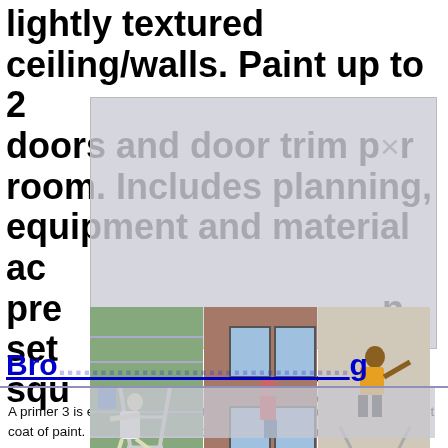lightly textured ceiling/walls. Paint up to 2 doors and door trim per room. Includes planning, equipment and material ac... pre... n, set... squ... 04
[Figure (photo): Overlay popup with ghosted text showing partial service description, with an X close button, and three photos below showing people on ladders near houses/buildings in unsafe ways.]
Bro...                                                                  g
A primer 3 is essentially a protective layer that you apply before the first coat of paint. If you are painting over an already-painted surface, you